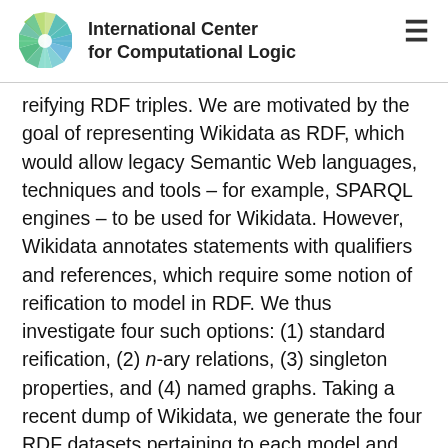International Center for Computational Logic
reifying RDF triples. We are motivated by the goal of representing Wikidata as RDF, which would allow legacy Semantic Web languages, techniques and tools – for example, SPARQL engines – to be used for Wikidata. However, Wikidata annotates statements with qualifiers and references, which require some notion of reification to model in RDF. We thus investigate four such options: (1) standard reification, (2) n-ary relations, (3) singleton properties, and (4) named graphs. Taking a recent dump of Wikidata, we generate the four RDF datasets pertaining to each model and discuss high-level aspects relating to data